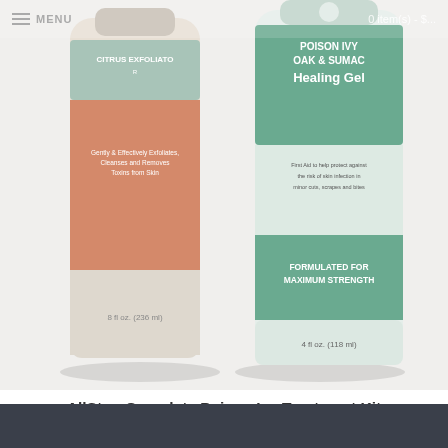MENU   0 item(s) - $...
[Figure (photo): Two product bottles side by side: left is a Citrus Exfoliator bottle (salmon/pink and mint green label, 8 fl oz / 236 ml), right is a Poison Ivy Oak & Sumac Healing Gel bottle (teal/mint green label, 4 fl oz / 118 ml, formulated for maximum strength). Both on white background with subtle shadow.]
AllStop Complete Poison Ivy Treatment Kit
$30.49
Add to Cart
Add to Wish List  Compare this Product